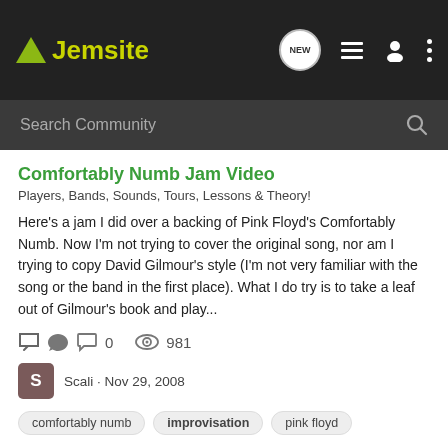Jemsite
Search Community
Comfortably Numb Jam Video
Players, Bands, Sounds, Tours, Lessons & Theory!
Here's a jam I did over a backing of Pink Floyd's Comfortably Numb. Now I'm not trying to cover the original song, nor am I trying to copy David Gilmour's style (I'm not very familiar with the song or the band in the first place). What I do try is to take a leaf out of Gilmour's book and play...
0  981
Scali · Nov 29, 2008
comfortably numb  improvisation  pink floyd
1-19 of 19 Results